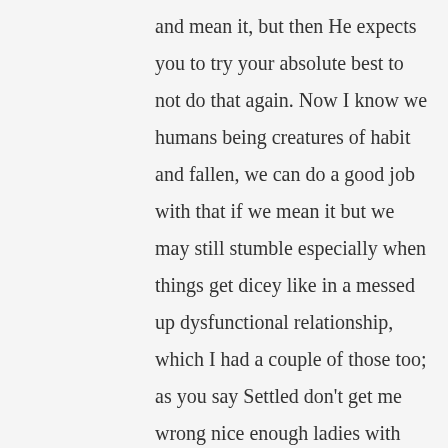and mean it, but then He expects you to try your absolute best to not do that again. Now I know we humans being creatures of habit and fallen, we can do a good job with that if we mean it but we may still stumble especially when things get dicey like in a messed up dysfunctional relationship, which I had a couple of those too; as you say Settled don't get me wrong nice enough ladies with careers and all the typical things but just not right for me and I couldn't be good enough for them; my Dad said